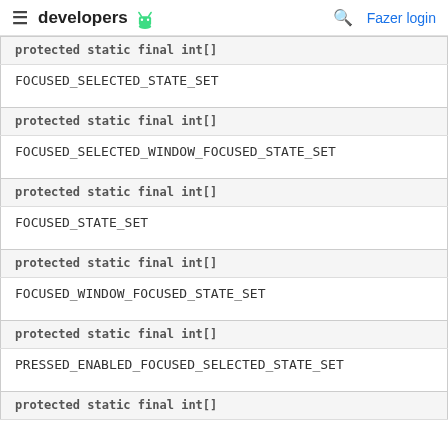≡ developers 🤖   🔍 Fazer login
| protected static final int[] | FOCUSED_SELECTED_STATE_SET |
| protected static final int[] | FOCUSED_SELECTED_WINDOW_FOCUSED_STATE_SET |
| protected static final int[] | FOCUSED_STATE_SET |
| protected static final int[] | FOCUSED_WINDOW_FOCUSED_STATE_SET |
| protected static final int[] | PRESSED_ENABLED_FOCUSED_SELECTED_STATE_SET |
| protected static final int[] |  |